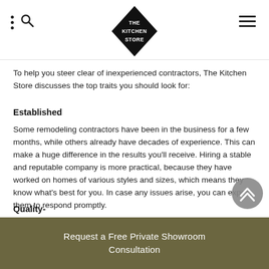The Kitchen Store — navigation header with logo
To help you steer clear of inexperienced contractors, The Kitchen Store discusses the top traits you should look for:
Established
Some remodeling contractors have been in the business for a few months, while others already have decades of experience. This can make a huge difference in the results you'll receive. Hiring a stable and reputable company is more practical, because they have worked on homes of various styles and sizes, which means they know what's best for you. In case any issues arise, you can expect them to respond promptly.
Quality-
Request a Free Private Showroom Consultation